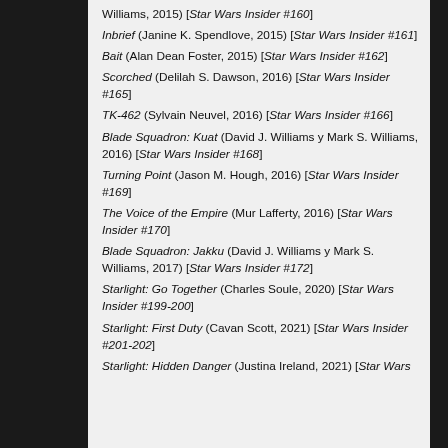Williams, 2015) [Star Wars Insider #160]
Inbrief (Janine K. Spendlove, 2015) [Star Wars Insider #161]
Bait (Alan Dean Foster, 2015) [Star Wars Insider #162]
Scorched (Delilah S. Dawson, 2016) [Star Wars Insider #165]
TK-462 (Sylvain Neuvel, 2016) [Star Wars Insider #166]
Blade Squadron: Kuat (David J. Williams y Mark S. Williams, 2016) [Star Wars Insider #168]
Turning Point (Jason M. Hough, 2016) [Star Wars Insider #169]
The Voice of the Empire (Mur Lafferty, 2016) [Star Wars Insider #170]
Blade Squadron: Jakku (David J. Williams y Mark S. Williams, 2017) [Star Wars Insider #172]
Starlight: Go Together (Charles Soule, 2020) [Star Wars Insider #199-200]
Starlight: First Duty (Cavan Scott, 2021) [Star Wars Insider #201-202]
Starlight: Hidden Danger (Justina Ireland, 2021) [Star Wars Insider #203-204]